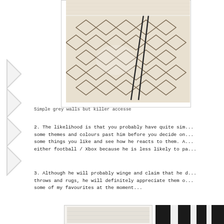[Figure (photo): Interior photo showing a patterned rug with diamond/trellis pattern and hairpin leg coffee table, partially visible wooden floor and white furniture. Photo is cropped, showing the top right portion of the image.]
Simple grey walls but killer accesse
2. The likelihood is that you probably have quite sim... some themes and colours past him before you decide on... some things you like and see how he reacts to them. A... either football / Xbox because he is less likely to pa...
3. Although he will probably winge and claim that he d... throws and rugs, he will definitely appreciate them o... some of my favourites at the moment...
[Figure (photo): Two product photos side by side at the bottom of the page: left shows a white/light colored rug or throw, right shows a black and white patterned item.]